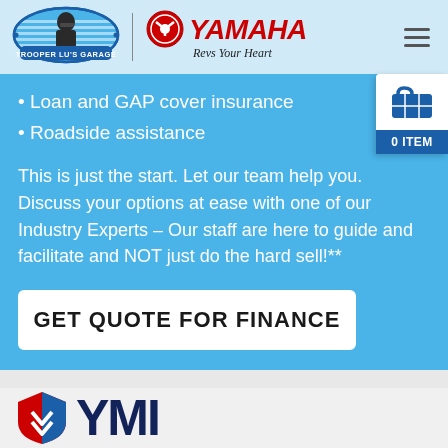[Figure (logo): Trooper Lu's Garage logo - oval badge with helmeted figure and text]
[Figure (logo): Yamaha logo with red emblem, YAMAHA wordmark in red italic, and 'Revs Your Heart' tagline]
[Figure (infographic): Shopping cart widget showing 0 ITEM in blue]
Loan and GAP cover insurance
Roadside assistance
This is just the start. Let our team help you. Discuss your options at ease with one of our Industry Experts – Our staff are here to guide and facilitate and NOT just do the hard sell!**
GET QUOTE FOR FINANCE
[Figure (logo): YMI logo partial - shield icon in red/blue/white and YMI dark blue text]